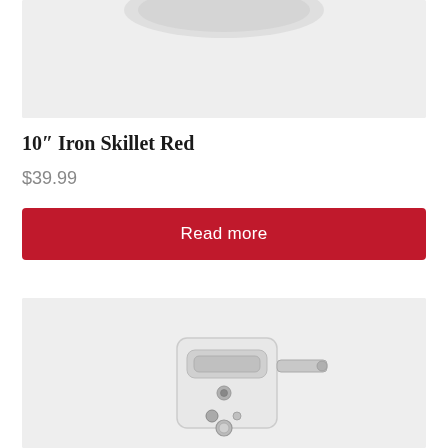[Figure (photo): Top portion of a red iron skillet product image on light grey background (cropped, only bottom edge visible)]
10″ Iron Skillet Red
$39.99
Read more
[Figure (photo): White electric can opener product image on light grey background (partially visible, cropped at bottom)]